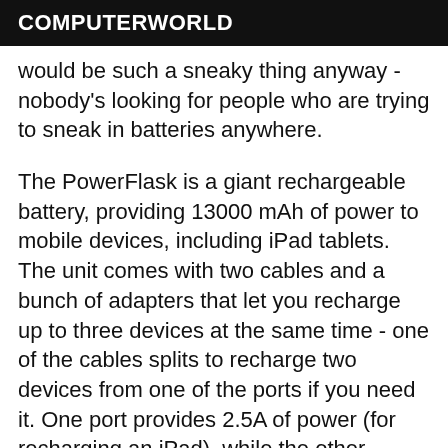COMPUTERWORLD
would be such a sneaky thing anyway - nobody's looking for people who are trying to sneak in batteries anywhere.
The PowerFlask is a giant rechargeable battery, providing 13000 mAh of power to mobile devices, including iPad tablets. The unit comes with two cables and a bunch of adapters that let you recharge up to three devices at the same time - one of the cables splits to recharge two devices from one of the ports if you need it. One port provides 2.5A of power (for recharging an iPad), while the other provides 1A output (for phones). The unit also includes two flashlight LEDs that can be useful if you need a flashlight, and you can always use the PowerFlask as a